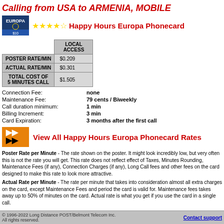Calling from USA to ARMENIA, MOBILE
★★★★☆ Happy Hours Europa Phonecard
|  | LOCAL ACCESS |
| --- | --- |
| POSTER RATE/MIN | $0.209 |
| ACTUAL RATE/MIN | $0.301 |
| TOTAL COST OF 5 MINUTES CALL | $1.505 |
Connection Fee: none
Maintenance Fee: 79 cents / Biweekly
Call duration minimum: 1 min
Billing Increment: 3 min
Card Expiration: 3 months after the first call
View All Happy Hours Europa Phonecard Rates
Poster Rate per Minute - The rate shown on the poster. It might look incredibly low, but very often this is not the rate you will get. This rate does not reflect effect of Taxes, Minutes Rounding, Maintenance Fees (if any), Connection Charges (if any), Long Call fees and other fees on the card designed to make this rate to look more attractive.
Actual Rate per Minute - The rate per minute that takes into consideration almost all extra charges on the card, except Maintenance Fees and period the card is valid for. Maintenance fees takes away up to 50% of minutes on the card. Actual rate is what you get if you use the card in a single call.
© 1996-2022 Long Distance POST/Belmont Telecom Inc. All rights reserved.    Contact support